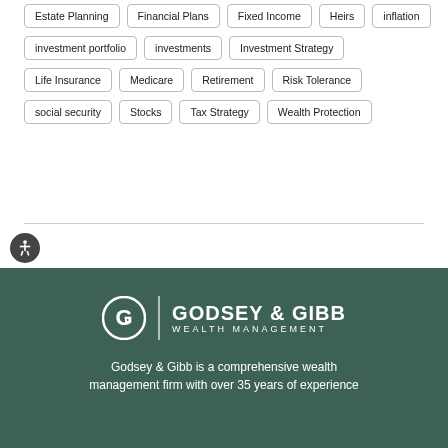Estate Planning
Financial Plans
Fixed Income
Heirs
inflation
investment portfolio
investments
Investment Strategy
Life Insurance
Medicare
Retirement
Risk Tolerance
social security
Stocks
Tax Strategy
Wealth Protection
[Figure (logo): Godsey & Gibb Wealth Management logo — circular G icon, vertical divider, company name in white on dark green background]
Godsey & Gibb is a comprehensive wealth management firm with over 35 years of experience